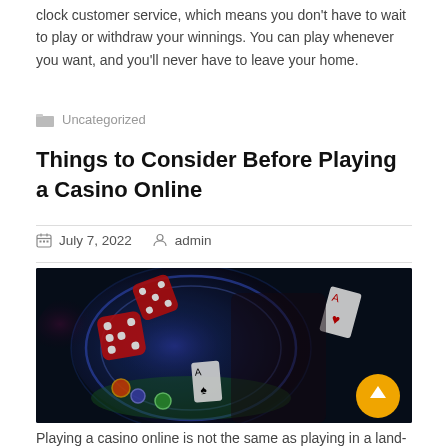clock customer service, which means you don't have to wait to play or withdraw your winnings. You can play whenever you want, and you'll never have to leave your home.
Uncategorized
Things to Consider Before Playing a Casino Online
July 7, 2022   admin
[Figure (photo): Casino themed promotional image featuring a woman in black dress holding playing cards, surrounded by glowing neon dice, casino chips, and playing cards on a dark background with blue and purple lighting. A yellow scroll-to-top button is visible in the bottom right corner.]
Playing a casino online is not the same as playing in a land-based